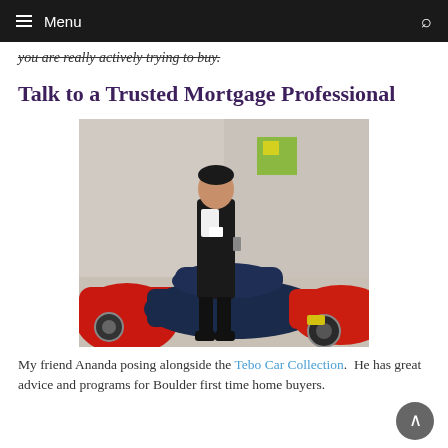Menu
you are really actively trying to buy.
Talk to a Trusted Mortgage Professional
[Figure (photo): A man posing alongside sports cars in a car collection showroom, including red and blue Ferraris.]
My friend Ananda posing alongside the Tebo Car Collection.  He has great advice and programs for Boulder first time home buyers.